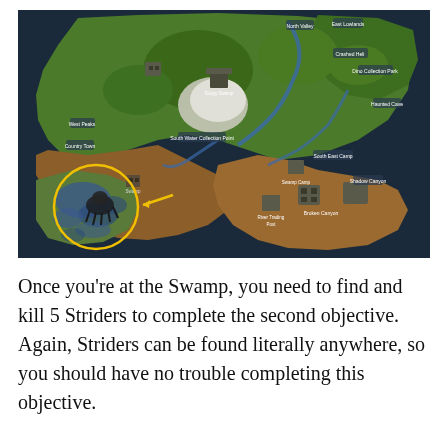[Figure (map): A game map (appears to be from Fortnite or similar battle royale game) showing terrain with green forested areas, brown/desert regions, swamp areas with blue water features, and various named locations marked with icons. A yellow circle highlights a swamp area in the lower-left portion of the map. A yellow arrow points toward the highlighted area. The map has a dark navy border.]
Once you're at the Swamp, you need to find and kill 5 Striders to complete the second objective. Again, Striders can be found literally anywhere, so you should have no trouble completing this objective.